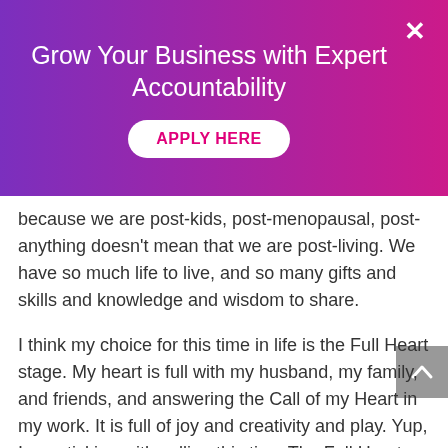Grow Your Business with Expert Accountability
APPLY HERE
because we are post-kids, post-menopausal, post-anything doesn't mean that we are post-living. We have so much life to live, and so many gifts and skills and knowledge and wisdom to share.
I think my choice for this time in life is the Full Heart stage. My heart is full with my husband, my family, and friends, and answering the Call of my Heart in my work. It is full of joy and creativity and play. Yup, I am sticking with calling this time The Full Heart stage!